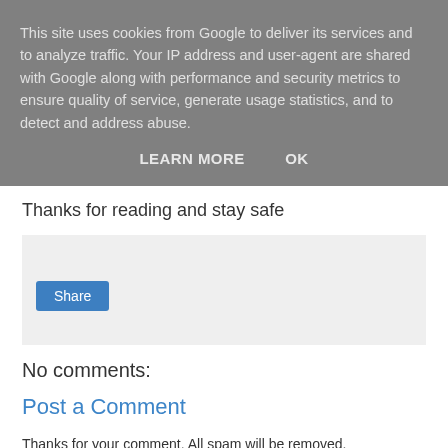This site uses cookies from Google to deliver its services and to analyze traffic. Your IP address and user-agent are shared with Google along with performance and security metrics to ensure quality of service, generate usage statistics, and to detect and address abuse.
LEARN MORE   OK
Thanks for reading and stay safe
[Figure (other): Share button widget area with a blue Share button]
No comments:
Post a Comment
Thanks for your comment. All spam will be removed.